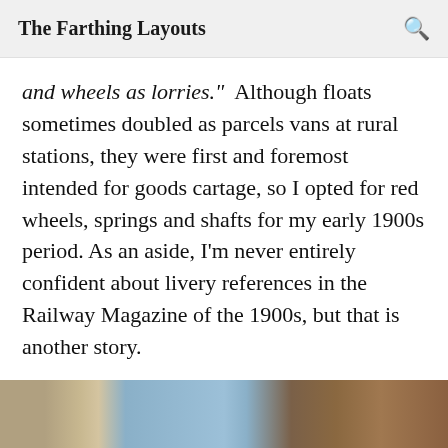The Farthing Layouts
and wheels as lorries."  Although floats sometimes doubled as parcels vans at rural stations, they were first and foremost intended for goods cartage, so I opted for red wheels, springs and shafts for my early 1900s period. As an aside, I'm never entirely confident about livery references in the Railway Magazine of the 1900s, but that is another story.
[Figure (photo): Partial view of a model railway scene, showing what appears to be model wagons or goods vehicles, partially visible at the bottom of the page.]